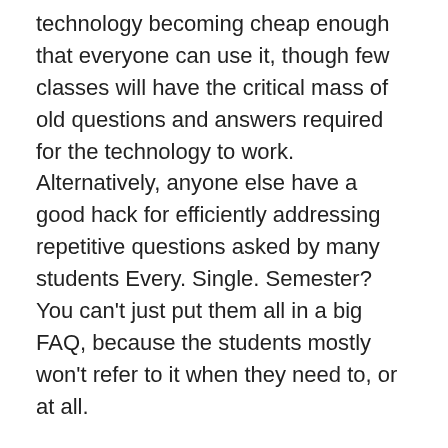technology becoming cheap enough that everyone can use it, though few classes will have the critical mass of old questions and answers required for the technology to work. Alternatively, anyone else have a good hack for efficiently addressing repetitive questions asked by many students Every. Single. Semester? You can't just put them all in a big FAQ, because the students mostly won't refer to it when they need to, or at all.
Continuing to Share ALL The Small Pond Science Things*: The NSF DEBrief blog on NSF's preliminary evaluation of the preproposal system. (ht Small Pond Science)
Sticking with the DEBrief blog, data on how likely a "good" NSF DEB proposal is to be funded. The short version is that the very highest-rated preproposals are almost sure to be invited to the full proposal stage, and the very highest